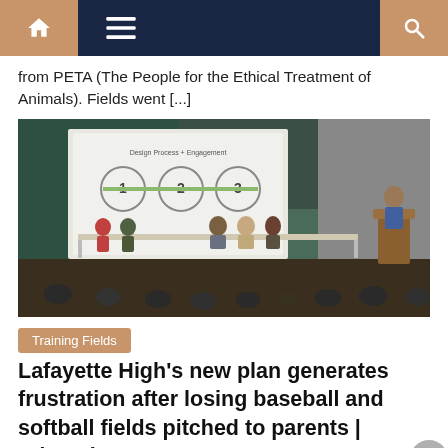Navigation bar with home, menu, and search icons
from PETA (The People for the Ethical Treatment of Animals). Fields went [...]
[Figure (photo): A community meeting or school presentation scene in an auditorium. A panel of people sits at a long table on a stage, with a projector screen behind showing a slide titled 'Design Process + Engagement' with numbered circles 1, 2, 3. A man stands at a podium on the right. An audience is visible in the foreground.]
Training Fields
Lafayette High's new plan generates frustration after losing baseball and softball fields pitched to parents | Education